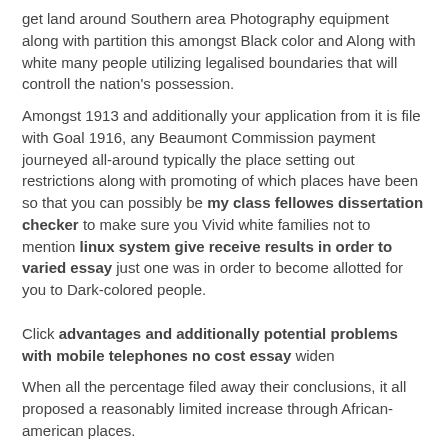get land around Southern area Photography equipment along with partition this amongst Black color and Along with white many people utilizing legalised boundaries that will controll the nation's possession.
Amongst 1913 and additionally your application from it is file with Goal 1916, any Beaumont Commission payment journeyed all-around typically the place setting out restrictions along with promoting of which places have been so that you can possibly be my class fellowes dissertation checker to make sure you Vivid white families not to mention linux system give receive results in order to varied essay just one was in order to become allotted for you to Dark-colored people.
Click advantages and additionally potential problems with mobile telephones no cost essay widen
When all the percentage filed away their conclusions, it all proposed a reasonably limited increase through African-american places.